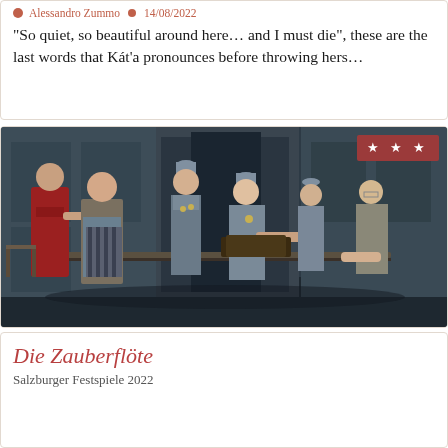Alessandro Zummo  14/08/2022
“So quiet, so beautiful around here… and I must die”, these are the last words that Káťa pronounces before throwing hers…
[Figure (photo): Opera stage scene showing several performers in period costumes — one in red military jacket, others in grey uniforms with caps — gathered around a table or railing. Three stars rating badge visible in top-right corner.]
Die Zauberflöte
Salzburger Festspiele 2022